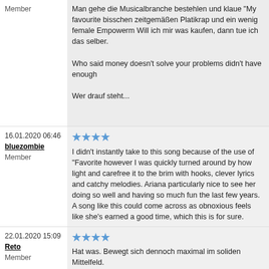Man gehe die Musicalbranche bestehlen und klaue "My favourite" bisschen zeitgemäßen Platikrap und ein wenig female Empowerment. Will ich mir was kaufen, dann tue ich das selber.

Who said money doesn't solve your problems didn't have enough

Wer drauf steht...
16.01.2020 06:46
bluezombie
Member
★★★★ I didn't instantly take to this song because of the use of "Favorite" however I was quickly turned around by how light and carefree it to the brim with hooks, clever lyrics and catchy melodies. Ariana particularly nice to see her doing so well and having so much fun the last few years. A song like this could come across as obnoxious feels like she's earned a good time, which this is for sure.
22.01.2020 15:09
Reto
Member
★★★★ Hat was. Bewegt sich dennoch maximal im soliden Mittelfeld.
25.01.2020 09:15
Deinonychus
Member
★★ Ein klarer Fall von zu vielen Köchen, welche den Brei verdorben beteiligt gewesen, doch das Ergebnis ist, gelinde gesagt, dürftig. Wucht. Einfach schlecht!
03.02.2020 03:58
timothy444
Member
★★ Not good. She only made this song because she wanted to brag ab
22.02.2020 16:49
clublover
Member
★★★★ Okay
25.03.2020 10:45
Aurelia
Member
★★★★ nicht so mein song
25.03.2020 12:05
katzewitti
★★★ begeistert mich nicht